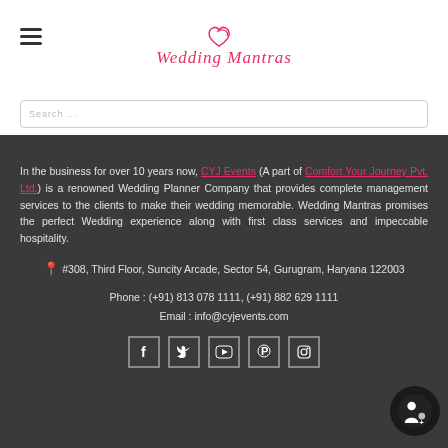[Figure (logo): Wedding Mantras logo with a heart/infinity symbol in red script]
In the business for over 10 years now, CYJ Events (A part of Comfort Your Journey Pvt. Ltd.) is a renowned Wedding Planner Company that provides complete management services to the clients to make their wedding memorable. Wedding Mantras promises the perfect Wedding experience along with first class services and impeccable hospitality.
#308, Third Floor, Suncity Arcade, Sector 54, Gurugram, Haryana 122003
Phone : (+91) 813 078 1111, (+91) 882 629 1111
Email : info@cyjevents.com
[Figure (other): Social media icons: Facebook, Twitter, YouTube, Pinterest, Instagram in square borders]